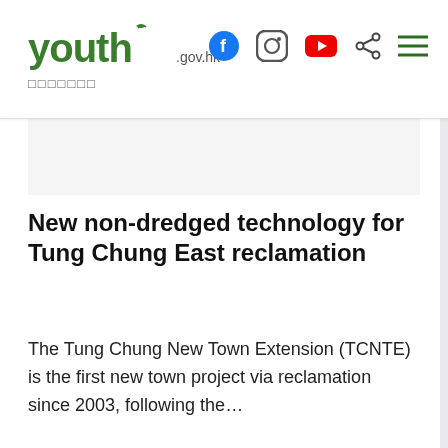youth.gov.hk — 香港青年發展委員會
[Figure (photo): Image area for article about non-dredged technology for Tung Chung East reclamation (placeholder/light gray)]
New non-dredged technology for Tung Chung East reclamation
The Tung Chung New Town Extension (TCNTE) is the first new town project via reclamation since 2003, following the…